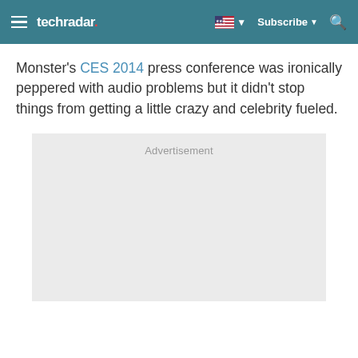techradar
Monster's CES 2014 press conference was ironically peppered with audio problems but it didn't stop things from getting a little crazy and celebrity fueled.
[Figure (other): Advertisement placeholder box with light gray background and 'Advertisement' label at the top center.]